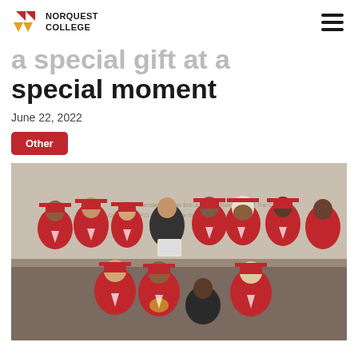NORQUEST COLLEGE
a special gift at a special moment
June 22, 2022
Other
[Figure (photo): Group of graduates in red caps and gowns posing together in front of a wall with donor names, with one person in black holding a certificate]